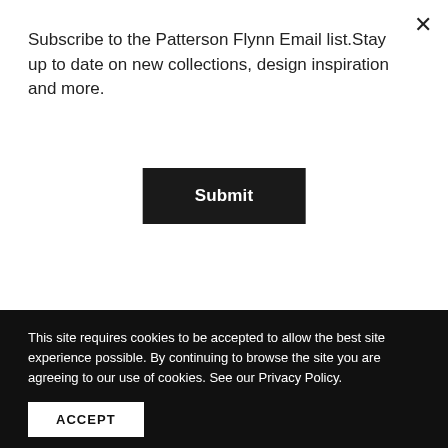Subscribe to the Patterson Flynn Email list.Stay up to date on new collections, design inspiration and more.
Submit
[Figure (illustration): Two carpet/rug texture images side by side: left shows a geometric diamond/chevron pattern in cream and light beige tones; right shows an organic vine/branch pattern in taupe on cream background.]
This site requires cookies to be accepted to allow the best site experience possible. By continuing to browse the site you are agreeing to our use of cookies. See our Privacy Policy.
ACCEPT